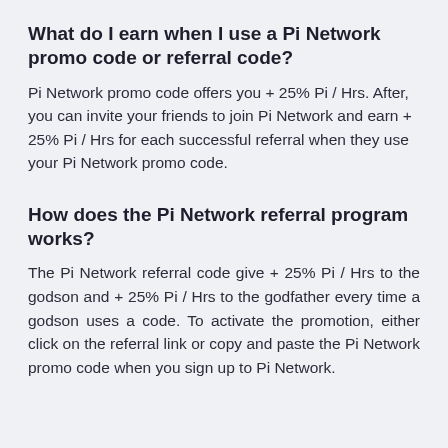What do I earn when I use a Pi Network promo code or referral code?
Pi Network promo code offers you + 25% Pi / Hrs. After, you can invite your friends to join Pi Network and earn + 25% Pi / Hrs for each successful referral when they use your Pi Network promo code.
How does the Pi Network referral program works?
The Pi Network referral code give + 25% Pi / Hrs to the godson and + 25% Pi / Hrs to the godfather every time a godson uses a code. To activate the promotion, either click on the referral link or copy and paste the Pi Network promo code when you sign up to Pi Network.